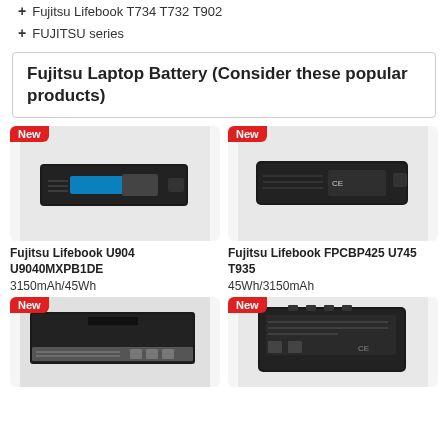Fujitsu Lifebook T734 T732 T902
FUJITSU series
Fujitsu Laptop Battery (Consider these popular products)
[Figure (photo): Fujitsu Lifebook U904 U9040MXPB1DE laptop battery on white background with New badge]
Fujitsu Lifebook U904 U9040MXPB1DE
3150mAh/45Wh
[Figure (photo): Fujitsu Lifebook FPCBP425 U745 T935 laptop battery on white background with New badge]
Fujitsu Lifebook FPCBP425 U745 T935
45Wh/3150mAh
[Figure (photo): Fujitsu laptop battery with New badge, partially visible]
[Figure (photo): Fujitsu laptop battery with New badge, partially visible]